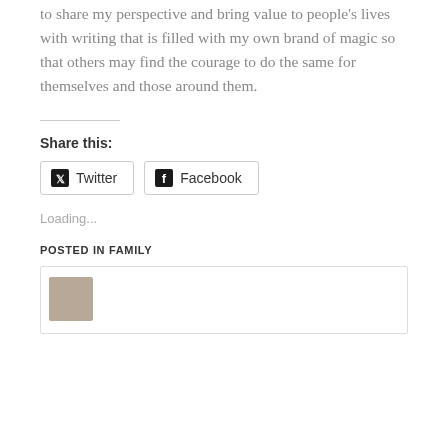to share my perspective and bring value to people's lives with writing that is filled with my own brand of magic so that others may find the courage to do the same for themselves and those around them.
Share this:
Twitter
Facebook
Loading...
POSTED IN FAMILY
[Figure (other): A card/thumbnail image box at the bottom of the page, showing a small brown/tan thumbnail image on the left]